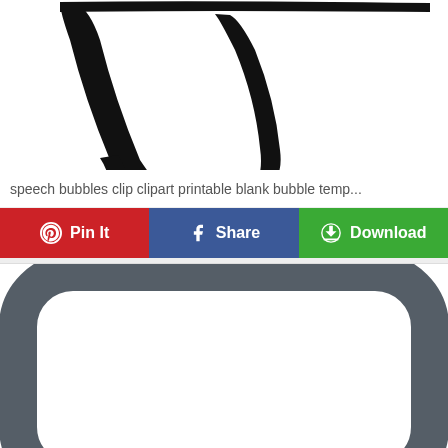[Figure (illustration): Black calligraphic or brush-stroke arrow/letter shape on white background, partial view showing curved strokes]
speech bubbles clip clipart printable blank bubble temp...
Pin It | Share | Download
[Figure (illustration): Rounded rectangle speech bubble outline in dark gray/slate color on white background, partial view showing top and sides]